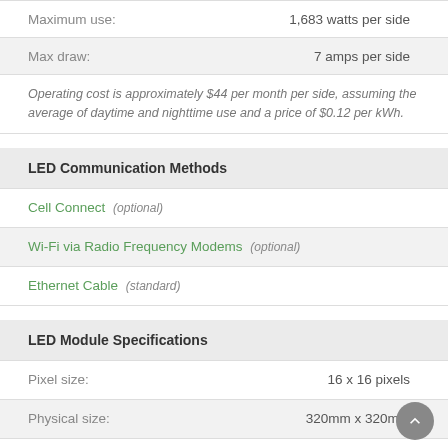| Maximum use: | 1,683 watts per side |
| Max draw: | 7 amps per side |
Operating cost is approximately $44 per month per side, assuming the average of daytime and nighttime use and a price of $0.12 per kWh.
LED Communication Methods
| Cell Connect (optional) |  |
| Wi-Fi via Radio Frequency Modems (optional) |  |
| Ethernet Cable (standard) |  |
LED Module Specifications
| Pixel size: | 16 x 16 pixels |
| Physical size: | 320mm x 320mm |
| LEDs per pixel: | 1 red, 1 green, 1 blue |